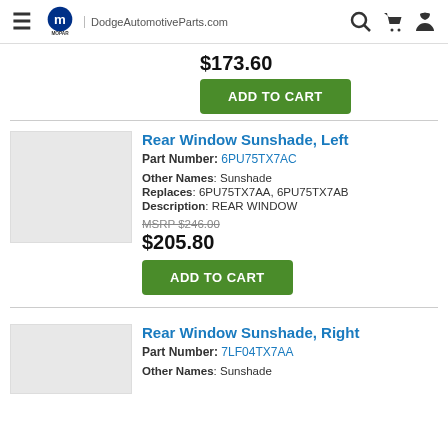DodgeAutomotiveParts.com
$173.60
ADD TO CART
Rear Window Sunshade, Left
Part Number: 6PU75TX7AC
Other Names: Sunshade
Replaces: 6PU75TX7AA, 6PU75TX7AB
Description: REAR WINDOW
MSRP $246.00
$205.80
ADD TO CART
Rear Window Sunshade, Right
Part Number: 7LF04TX7AA
Other Names: Sunshade